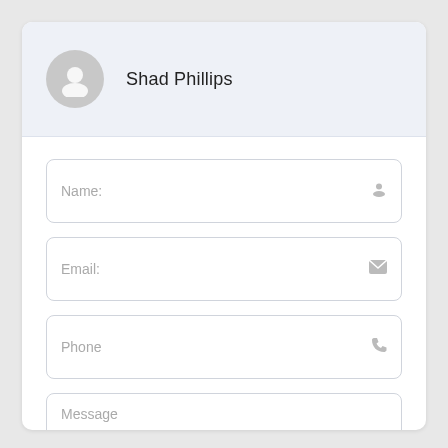Shad Phillips
Name:
Email:
Phone
Message